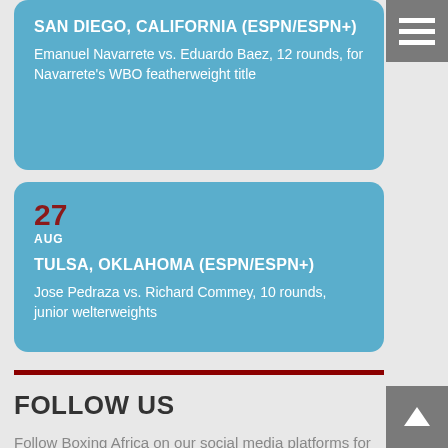SAN DIEGO, CALIFORNIA (ESPN/ESPN+)
Emanuel Navarrete vs. Eduardo Baez, 12 rounds, for Navarrete's WBO featherweight title
27
AUG
TULSA, OKLAHOMA (ESPN/ESPN+)
Jose Pedraza vs. Richard Commey, 10 rounds, junior welterweights
FOLLOW US
Follow Boxing Africa on our social media platforms for all of your latest boxing news.